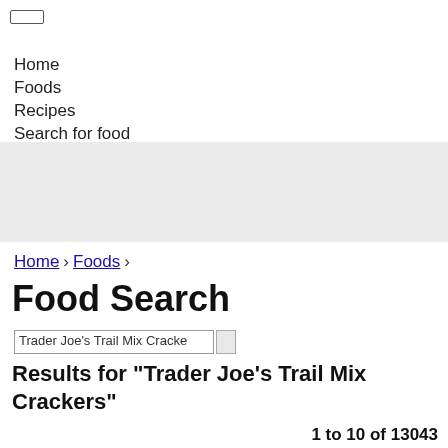☐
Home
Foods
Recipes
Search for food
[Figure (other): Gray advertisement or content banner area]
Home > Foods >
Food Search
Trader Joe's Trail Mix Cracke [search input and button]
Results for "Trader Joe's Trail Mix Crackers"
1 to 10 of 13043